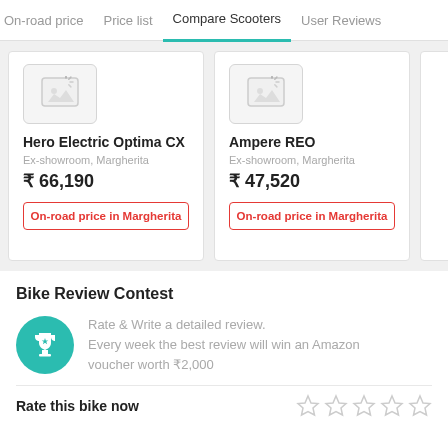On-road price | Price list | Compare Scooters | User Reviews
[Figure (screenshot): Hero Electric Optima CX scooter card with image placeholder, price ₹66,190, and On-road price in Margherita button]
[Figure (screenshot): Ampere REO scooter card with image placeholder, price ₹47,520, and On-road price in Margherita button]
Bike Review Contest
Rate & Write a detailed review. Every week the best review will win an Amazon voucher worth ₹2,000
Rate this bike now